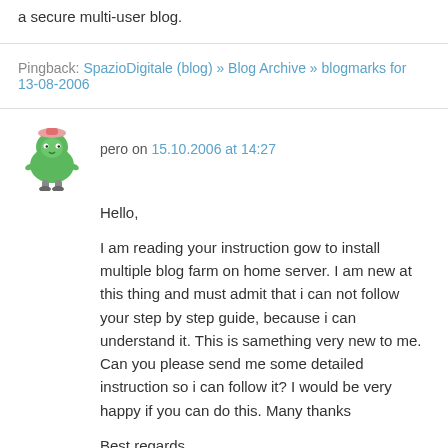a secure multi-user blog.
Pingback: SpazioDigitale (blog) » Blog Archive » blogmarks for 13-08-2006
pero on 15.10.2006 at 14:27
Hello,

I am reading your instruction gow to install multiple blog farm on home server. I am new at this thing and must admit that i can not follow your step by step guide, because i can understand it. This is samething very new to me. Can you please send me some detailed instruction so i can follow it? I would be very happy if you can do this. Many thanks

Best regards

I have:
Win srv2003 std
IIS6
php 4.4